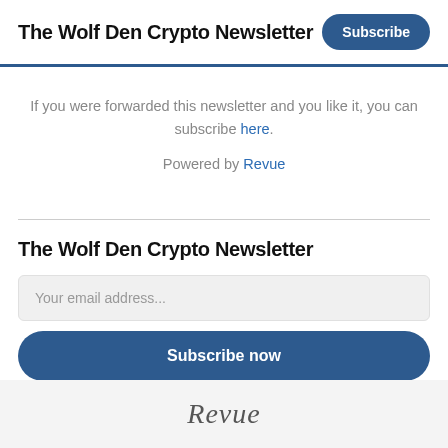The Wolf Den Crypto Newsletter
If you were forwarded this newsletter and you like it, you can subscribe here.
Powered by Revue
The Wolf Den Crypto Newsletter
Your email address...
Subscribe now
[Figure (logo): Revue logo in italic script font]